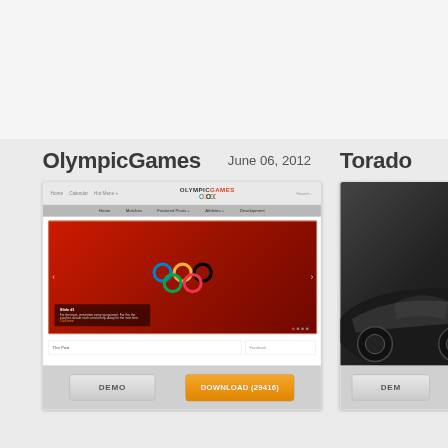OlympicGames
June 06, 2012
[Figure (screenshot): Screenshot of OlympicGames WordPress theme showing red header with Olympic rings logo, navigation bar, hero slideshow with Olympic rings on red background, and content area below]
DEMO
DOWNLOAD (29416)
Torado
[Figure (screenshot): Partial screenshot of Torado theme showing a sports car on dark background]
DEMO